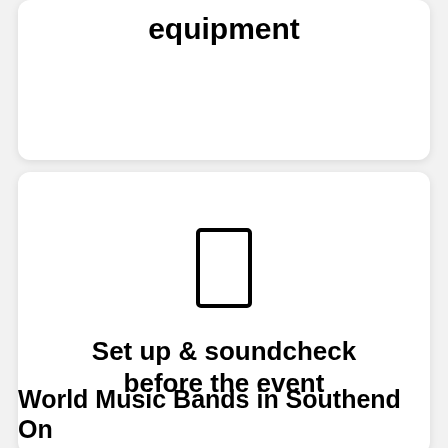equipment
[Figure (illustration): A rectangle icon representing a mobile device or screen, centered in a white card]
Set up & soundcheck before the event
World Music Bands in Southend On